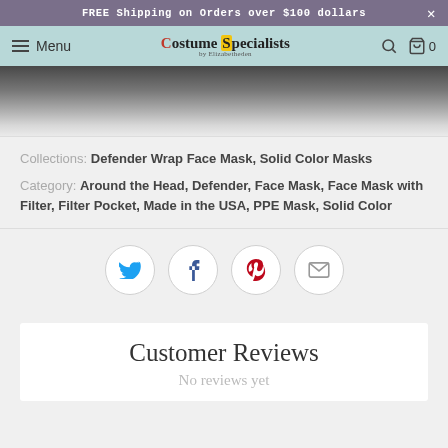FREE Shipping on Orders over $100 dollars
Menu | Costume Specialists | Search | Cart 0
[Figure (photo): Product photo showing fabric face masks on a wooden surface]
Collections: Defender Wrap Face Mask, Solid Color Masks
Category: Around the Head, Defender, Face Mask, Face Mask with Filter, Filter Pocket, Made in the USA, PPE Mask, Solid Color
[Figure (other): Social share buttons: Twitter, Facebook, Pinterest, Email]
Customer Reviews
No reviews yet